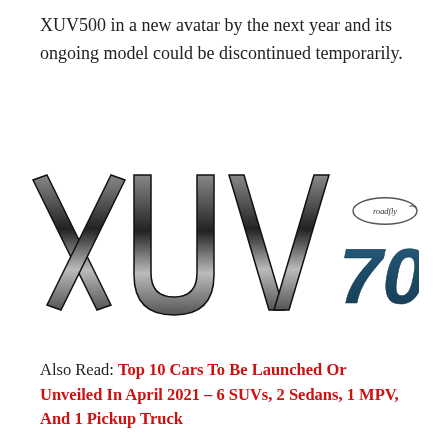XUV500 in a new avatar by the next year and its ongoing model could be discontinued temporarily.
[Figure (logo): Roadfly watermark logo in top right area]
[Figure (logo): XUV700 brand logo — large stylized text 'XUV' in dark/silver gradient and '700' in dark teal/blue on white background]
Also Read: Top 10 Cars To Be Launched Or Unveiled In April 2021 – 6 SUVs, 2 Sedans, 1 MPV, And 1 Pickup Truck